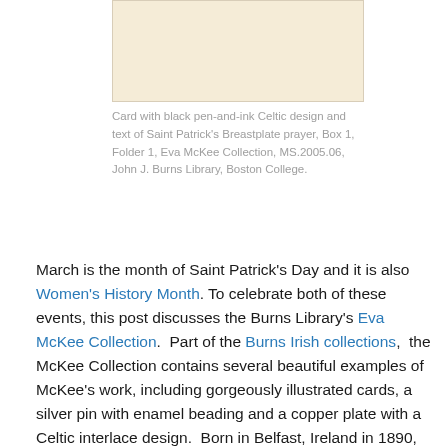[Figure (photo): Scanned card with black pen-and-ink Celtic design, cream/beige background]
Card with black pen-and-ink Celtic design and text of Saint Patrick's Breastplate prayer, Box 1, Folder 1, Eva McKee Collection, MS.2005.06, John J. Burns Library, Boston College.
March is the month of Saint Patrick's Day and it is also Women's History Month. To celebrate both of these events, this post discusses the Burns Library's Eva McKee Collection.  Part of the Burns Irish collections,  the McKee Collection contains several beautiful examples of McKee's work, including gorgeously illustrated cards, a silver pin with enamel beading and a copper plate with a Celtic interlace design.  Born in Belfast, Ireland in 1890, Eva